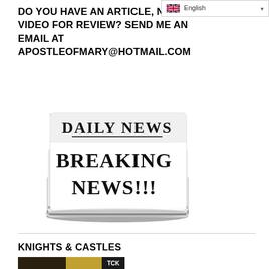English
DO YOU HAVE AN ARTICLE, NEWS OR VIDEO FOR REVIEW? SEND ME AN EMAIL AT APOSTLEOFMARY@HOTMAIL.COM
[Figure (illustration): Stack of newspapers with 'DAILY NEWS' and 'BREAKING NEWS!!!' printed on them in bold black serif text, shown as a grayscale illustration]
KNIGHTS & CASTLES
[Figure (photo): A dark atmospheric photo with a large tree, yellowish sky tones, with 'TCK' visible in the upper right corner]